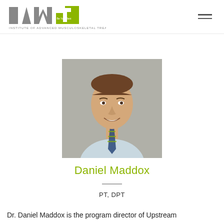IAMT - Institute of Advanced Musculoskeletal Treatments
[Figure (photo): Professional headshot of Daniel Maddox, a man in a light blue checked shirt and striped tie, smiling, against a gray background.]
Daniel Maddox
PT, DPT
Dr. Daniel Maddox is the program director of Upstream